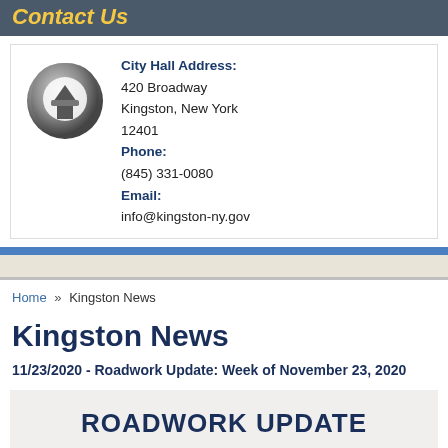Contact Us
City Hall Address: 420 Broadway Kingston, New York 12401 Phone: (845) 331-0080 Email: info@kingston-ny.gov
Home » Kingston News
Kingston News
11/23/2020 - Roadwork Update: Week of November 23, 2020
ROADWORK UPDATE